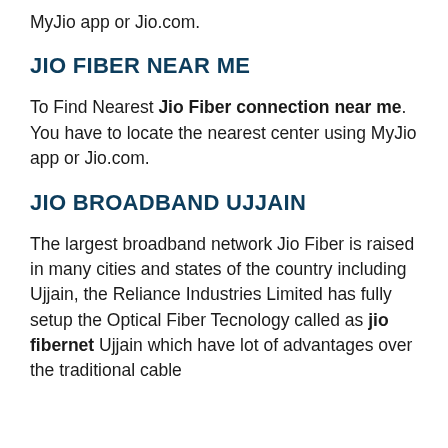MyJio app or Jio.com.
JIO FIBER NEAR ME
To Find Nearest Jio Fiber connection near me. You have to locate the nearest center using MyJio app or Jio.com.
JIO BROADBAND UJJAIN
The largest broadband network Jio Fiber is raised in many cities and states of the country including Ujjain, the Reliance Industries Limited has fully setup the Optical Fiber Tecnology called as jio fibernet Ujjain which have lot of advantages over the traditional cable